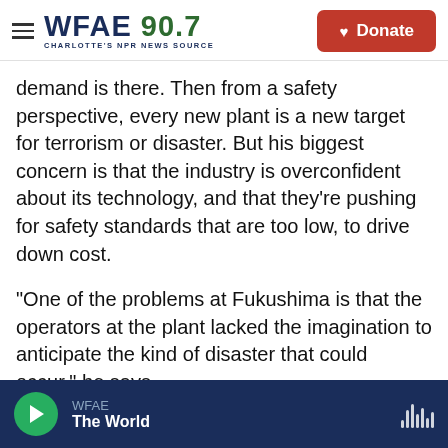WFAE 90.7 CHARLOTTE'S NPR NEWS SOURCE | Donate
demand is there. Then from a safety perspective, every new plant is a new target for terrorism or disaster. But his biggest concern is that the industry is overconfident about its technology, and that they're pushing for safety standards that are too low, to drive down cost.
"One of the problems at Fukushima is that the operators at the plant lacked the imagination to anticipate the kind of disaster that could occur," he says.
He also opposes selling to developing
WFAE | The World